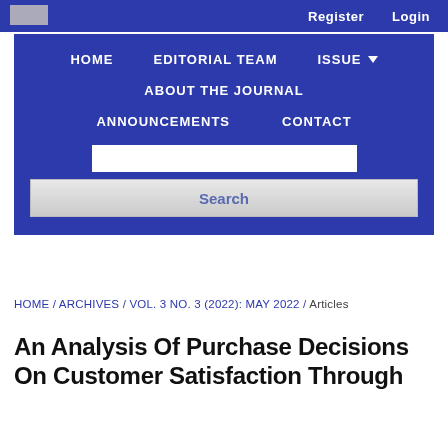Register  Login
[Figure (screenshot): Journal website navigation bar with blue background. Menu items: HOME, EDITORIAL TEAM, ISSUE (with dropdown arrow), ABOUT THE JOURNAL, ANNOUNCEMENTS, CONTACT. Below navigation: a white search input box and a gray Search button.]
HOME / ARCHIVES / VOL. 3 NO. 3 (2022): MAY 2022 / Articles
An Analysis Of Purchase Decisions On Customer Satisfaction Through